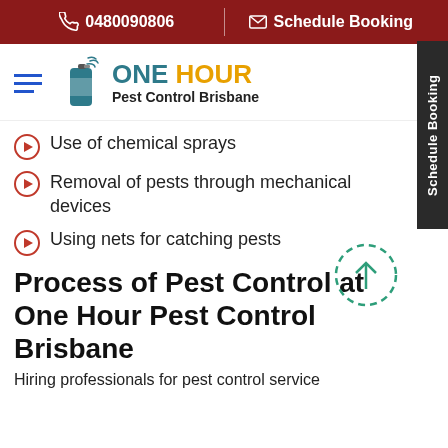0480090806 | Schedule Booking
[Figure (logo): One Hour Pest Control Brisbane logo with spray can icon, hamburger menu icon]
Use of chemical sprays
Removal of pests through mechanical devices
Using nets for catching pests
Process of Pest Control at One Hour Pest Control Brisbane
Hiring professionals for pest control service